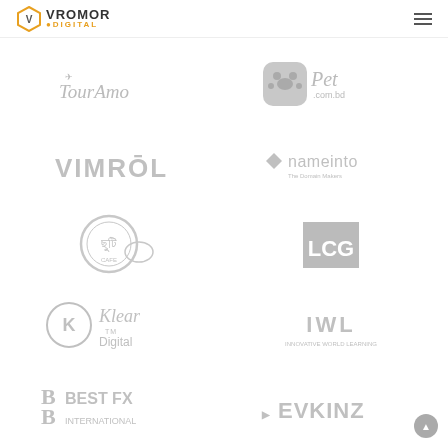VROMOR DIGITAL — navigation header with hamburger menu
[Figure (logo): TourAmo travel logo in gray — cursive script with airplane icon]
[Figure (logo): Pet.com.bd logo in gray — paw print in rounded square with cursive Pet text]
[Figure (logo): VIMROL logo in gray — bold uppercase sans-serif]
[Figure (logo): nameinto logo in gray — lowercase with diamond icon and tagline]
[Figure (logo): Shuti (Bengali tea brand) logo in gray — circular emblem]
[Figure (logo): LCG logo in gray — square block letters]
[Figure (logo): Klear Digital logo in gray — circular K icon with text]
[Figure (logo): IWL logo in gray — bold letters with tagline]
[Figure (logo): BEST FX INTERNATIONAL logo in gray — B icon with text]
[Figure (logo): EVKINZ logo in gray — angular chevron with bold text]